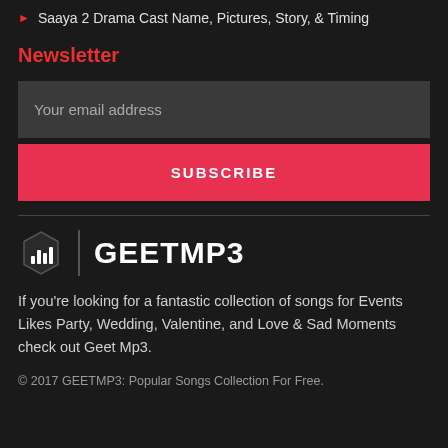Saaya 2 Drama Cast Name, Pictures, Story, & Timing
Newsletter
Your email address
SUBSCRIBE
[Figure (logo): GEETMP3 logo — hexagon icon with bar chart symbol, vertical divider, and bold GEETMP3 text]
If you're looking for a fantastic collection of songs for Events Likes Party, Wedding, Valentine, and Love & Sad Moments check out Geet Mp3.
© 2017 GEETMP3: Popular Songs Collection For Free.